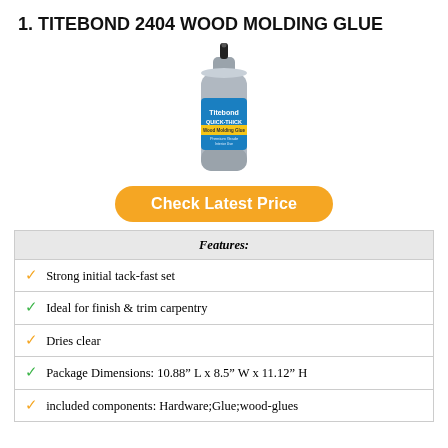1. TITEBOND 2404 WOOD MOLDING GLUE
[Figure (photo): A bottle of Titebond Quick-Thick wood molding glue, silver/gray cylindrical bottle with a black applicator tip and blue label]
Check Latest Price
| Features: |
| --- |
| ✓ Strong initial tack-fast set |
| ✓ Ideal for finish & trim carpentry |
| ✓ Dries clear |
| ✓ Package Dimensions: 10.88" L x 8.5" W x 11.12" H |
| ✓ included components: Hardware;Glue;wood-glues |